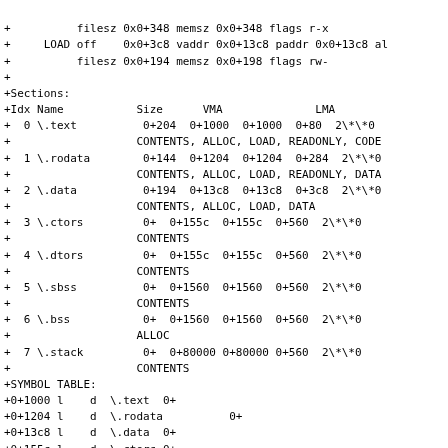+          filesz 0x0+348 memsz 0x0+348 flags r-x
+     LOAD off    0x0+3c8 vaddr 0x0+13c8 paddr 0x0+13c8 al
+          filesz 0x0+194 memsz 0x0+198 flags rw-
+
+Sections:
+Idx Name           Size      VMA              LMA
+  0 \.text          0+204  0+1000  0+1000  0+80  2\*\*0
+                   CONTENTS, ALLOC, LOAD, READONLY, CODE
+  1 \.rodata        0+144  0+1204  0+1204  0+284  2\*\*0
+                   CONTENTS, ALLOC, LOAD, READONLY, DATA
+  2 \.data          0+194  0+13c8  0+13c8  0+3c8  2\*\*0
+                   CONTENTS, ALLOC, LOAD, DATA
+  3 \.ctors         0+  0+155c  0+155c  0+560  2\*\*0
+                   CONTENTS
+  4 \.dtors         0+  0+155c  0+155c  0+560  2\*\*0
+                   CONTENTS
+  5 \.sbss          0+  0+1560  0+1560  0+560  2\*\*0
+                   CONTENTS
+  6 \.bss           0+  0+1560  0+1560  0+560  2\*\*0
+                   ALLOC
+  7 \.stack         0+  0+80000 0+80000 0+560  2\*\*0
+                   CONTENTS
+SYMBOL TABLE:
+0+1000 l    d  \.text  0+
+0+1204 l    d  \.rodata          0+
+0+13c8 l    d  \.data  0+
+0+155c l    d  \.ctors 0+
+0+155c l    d  \.dtors 0+
+0+1560 l    d  \.sbss  0+
+0+1560 l    d  \.bss   0+
+0+1560 l    d  \.bss   0+